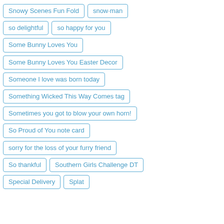Snowy Scenes Fun Fold
snow·man
so delightful
so happy for you
Some Bunny Loves You
Some Bunny Loves You Easter Decor
Someone I love was born today
Something Wicked This Way Comes tag
Sometimes you got to blow your own horn!
So Proud of You note card
sorry for the loss of your furry friend
So thankful
Southern Girls Challenge DT
Special Delivery
Splat